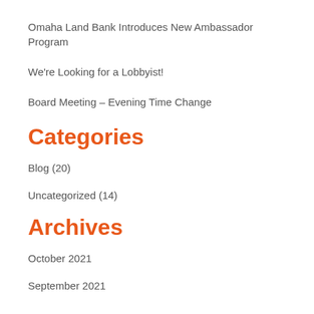Omaha Land Bank Introduces New Ambassador Program
We're Looking for a Lobbyist!
Board Meeting – Evening Time Change
Categories
Blog (20)
Uncategorized (14)
Archives
October 2021
September 2021